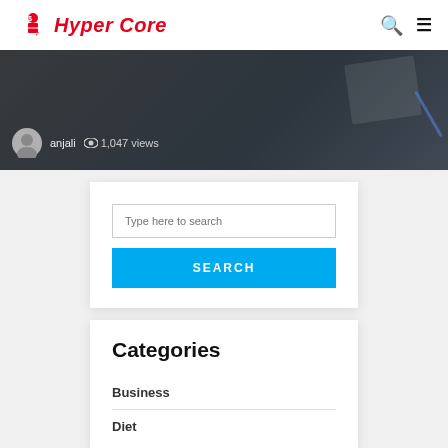Hyper Core
[Figure (photo): Background image of a desk with notebook and pen, dark overlay. Shows author avatar, name 'anjali', and '1,047 views']
anjali  1,047 views
Type here to search
SEARCH
Categories
Business
Diet